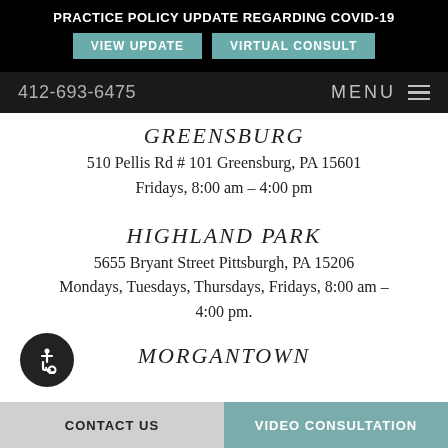PRACTICE POLICY UPDATE REGARDING COVID-19
VIEW UPDATE | VIRTUAL CONSULT
412-693-6475   MENU
GREENSBURG
510 Pellis Rd # 101 Greensburg, PA 15601
Fridays, 8:00 am – 4:00 pm
HIGHLAND PARK
5655 Bryant Street Pittsburgh, PA 15206
Mondays, Tuesdays, Thursdays, Fridays, 8:00 am – 4:00 pm.
MORGANTOWN
CONTACT US   VIDEO CONSULTATION